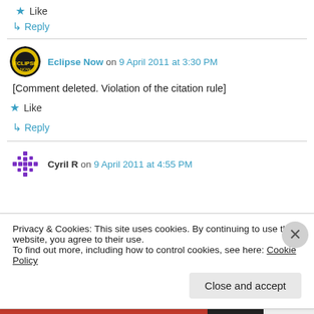★ Like
↳ Reply
Eclipse Now on 9 April 2011 at 3:30 PM
[Comment deleted. Violation of the citation rule]
★ Like
↳ Reply
Cyril R on 9 April 2011 at 4:55 PM
Privacy & Cookies: This site uses cookies. By continuing to use this website, you agree to their use.
To find out more, including how to control cookies, see here: Cookie Policy
Close and accept